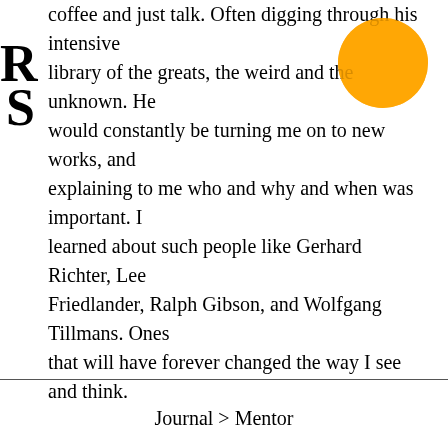coffee and just talk. Often digging through his intensive library of the greats, the weird and the unknown. He would constantly be turning me on to new works, and explaining to me who and why and when was important. I learned about such people like Gerhard Richter, Lee Friedlander, Ralph Gibson, and Wolfgang Tillmans. Ones that will have forever changed the way I see and think.
[Figure (illustration): Orange circle partially overlapping text in upper right area]
Journal > Mentor